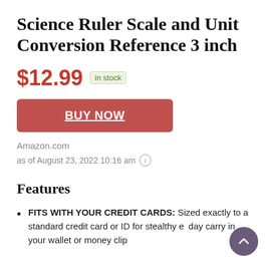Science Ruler Scale and Unit Conversion Reference 3 inch
$12.99  in stock
BUY NOW
Amazon.com
as of August 23, 2022 10:16 am
Features
FITS WITH YOUR CREDIT CARDS: Sized exactly to a standard credit card or ID for stealthy everyday carry in your wallet or money clip